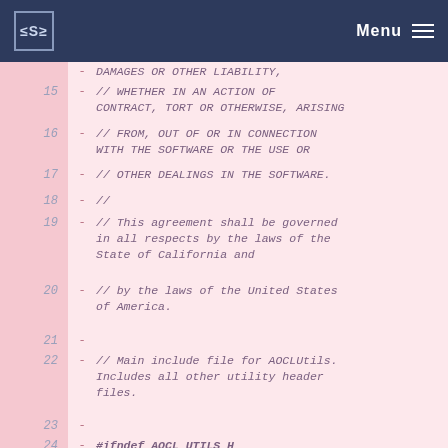Menu
- // DAMAGES OR OTHER LIABILITY,
15 - // WHETHER IN AN ACTION OF CONTRACT, TORT OR OTHERWISE, ARISING
16 - // FROM, OUT OF OR IN CONNECTION WITH THE SOFTWARE OR THE USE OR
17 - // OTHER DEALINGS IN THE SOFTWARE.
18 - //
19 - // This agreement shall be governed in all respects by the laws of the State of California and
20 - // by the laws of the United States of America.
21 -
22 - // Main include file for AOCLUtils. Includes all other utility header files.
23 -
24 - #ifndef AOCL_UTILS_H
25 - #define AOCL_UTILS_H
26 -